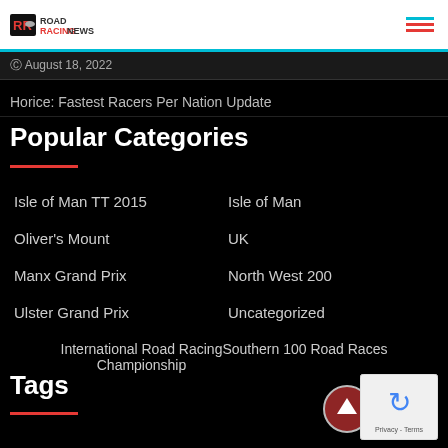Road Racing News
August 18, 2022
Horice: Fastest Racers Per Nation Update
Popular Categories
Isle of Man TT 2015
Isle of Man
Oliver's Mount
UK
Manx Grand Prix
North West 200
Ulster Grand Prix
Uncategorized
International Road Racing Championship
Southern 100 Road Races
Tags